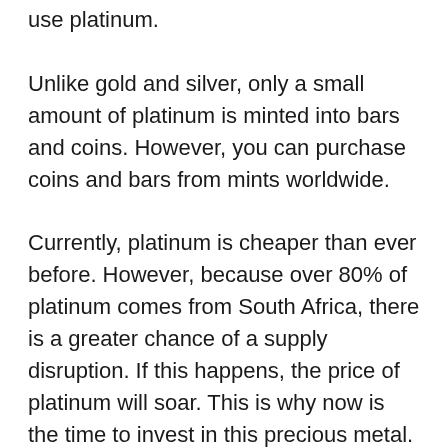use platinum.
Unlike gold and silver, only a small amount of platinum is minted into bars and coins. However, you can purchase coins and bars from mints worldwide.
Currently, platinum is cheaper than ever before. However, because over 80% of platinum comes from South Africa, there is a greater chance of a supply disruption. If this happens, the price of platinum will soar. This is why now is the time to invest in this precious metal.